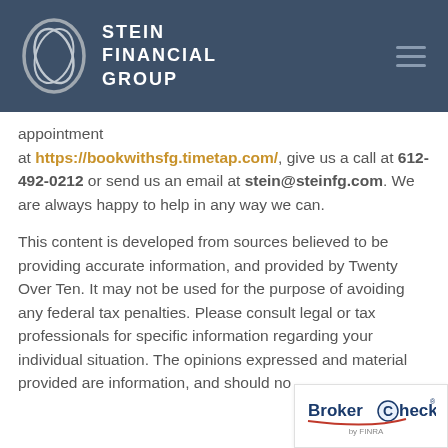[Figure (logo): Stein Financial Group logo with stylized double-oval S graphic and company name in white uppercase text on dark navy header]
appointment at https://bookwithsfg.timetap.com/, give us a call at 612-492-0212 or send us an email at stein@steinfg.com. We are always happy to help in any way we can.
This content is developed from sources believed to be providing accurate information, and provided by Twenty Over Ten. It may not be used for the purpose of avoiding any federal tax penalties. Please consult legal or tax professionals for specific information regarding your individual situation. The opinions expressed and material provided are information, and should no
[Figure (logo): BrokerCheck by FINRA logo badge in bottom right corner]